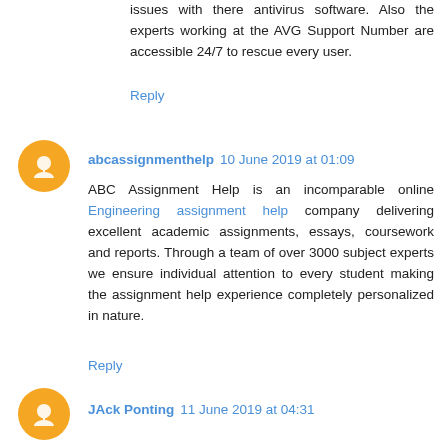issues with there antivirus software. Also the experts working at the AVG Support Number are accessible 24/7 to rescue every user.
Reply
abcassignmenthelp 10 June 2019 at 01:09
ABC Assignment Help is an incomparable online Engineering assignment help company delivering excellent academic assignments, essays, coursework and reports. Through a team of over 3000 subject experts we ensure individual attention to every student making the assignment help experience completely personalized in nature.
Reply
JAck Ponting 11 June 2019 at 04:31